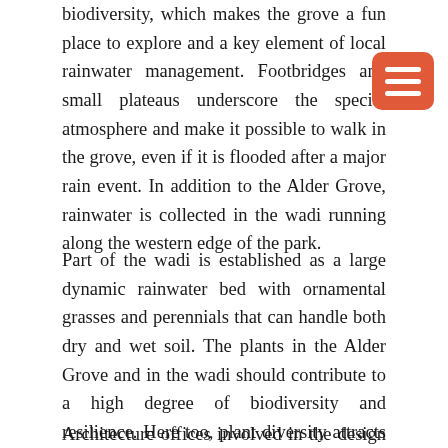biodiversity, which makes the grove a fun place to explore and a key element of local rainwater management. Footbridges and small plateaus underscore the special atmosphere and make it possible to walk in the grove, even if it is flooded after a major rain event. In addition to the Alder Grove, rainwater is collected in the wadi running along the western edge of the park.
Part of the wadi is established as a large dynamic rainwater bed with ornamental grasses and perennials that can handle both dry and wet soil. The plants in the Alder Grove and in the wadi should contribute to a high degree of biodiversity and resilience. Here too, plant diversity attracts a rich selection of animals, insects and birds.
Architecture offices involved in the design (if any): SNE